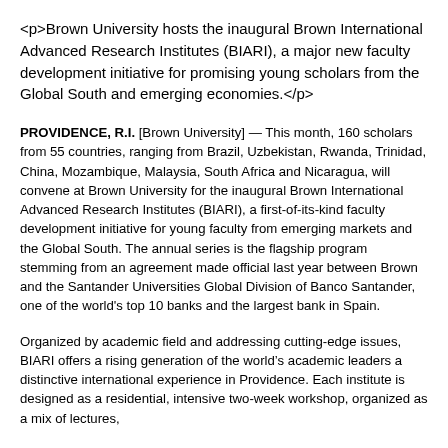<p>Brown University hosts the inaugural Brown International Advanced Research Institutes (BIARI), a major new faculty development initiative for promising young scholars from the Global South and emerging economies.</p>
PROVIDENCE, R.I. [Brown University] — This month, 160 scholars from 55 countries, ranging from Brazil, Uzbekistan, Rwanda, Trinidad, China, Mozambique, Malaysia, South Africa and Nicaragua, will convene at Brown University for the inaugural Brown International Advanced Research Institutes (BIARI), a first-of-its-kind faculty development initiative for young faculty from emerging markets and the Global South. The annual series is the flagship program stemming from an agreement made official last year between Brown and the Santander Universities Global Division of Banco Santander, one of the world's top 10 banks and the largest bank in Spain.
Organized by academic field and addressing cutting-edge issues, BIARI offers a rising generation of the world's academic leaders a distinctive international experience in Providence. Each institute is designed as a residential, intensive two-week workshop, organized as a mix of lectures,